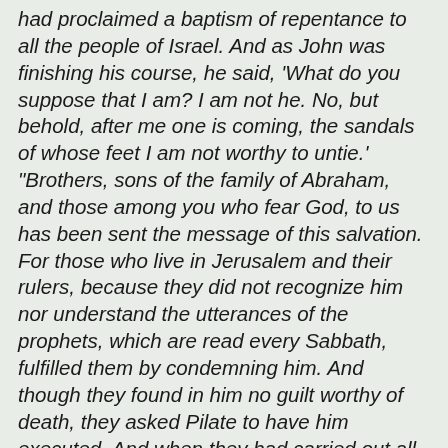had proclaimed a baptism of repentance to all the people of Israel. And as John was finishing his course, he said, 'What do you suppose that I am? I am not he. No, but behold, after me one is coming, the sandals of whose feet I am not worthy to untie.' "Brothers, sons of the family of Abraham, and those among you who fear God, to us has been sent the message of this salvation. For those who live in Jerusalem and their rulers, because they did not recognize him nor understand the utterances of the prophets, which are read every Sabbath, fulfilled them by condemning him. And though they found in him no guilt worthy of death, they asked Pilate to have him executed. And when they had carried out all that was written of him, they took him down from the tree and laid him in a tomb. But God raised him from the dead, and for many days he appeared to those who had come up with him from Galilee to Jerusalem, who are now his witnesses to the people. And we bring you the good news that what God promised to the